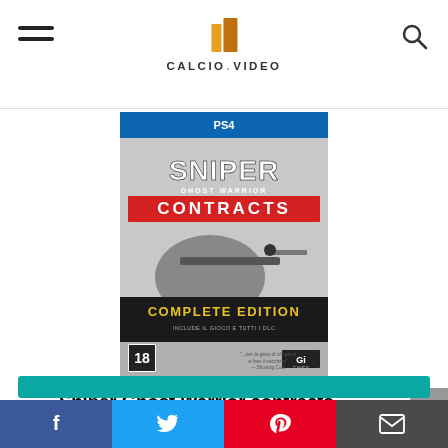CALCIO.VIDEO
[Figure (photo): PS4 game box art for Sniper Ghost Warrior Contracts – Complete Edition, showing a sniper in winter camouflage aiming a rifle, with 'COMPLETE EDITION – INCLUDE IL GIOCO E TUTTI I DLC' banner, age rating 18, and CI Games logo.]
Sniper Ghost Warrior contracts - Complete Edition - Complete - PlayStation 4
[Figure (other): Teal/green call-to-action button bar]